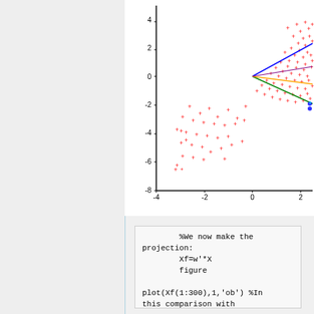[Figure (continuous-plot): Scatter plot showing data points (red crosses) and fitted lines (blue, green, orange, purple). X-axis ranges from -4 to 2+, Y-axis ranges from -8 to 4+. Dense cluster of red cross markers in upper right with scattered outliers in lower left. Several colored regression/projection lines pass through the data.]
%We now make the projection:
        Xf=w'*X
        figure

plot(Xf(1:300),1,'ob') %In
this comparison with